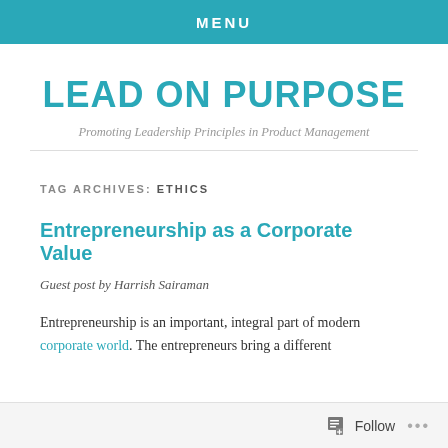MENU
LEAD ON PURPOSE
Promoting Leadership Principles in Product Management
TAG ARCHIVES: ETHICS
Entrepreneurship as a Corporate Value
Guest post by Harrish Sairaman
Entrepreneurship is an important, integral part of modern corporate world. The entrepreneurs bring a different
Follow ...